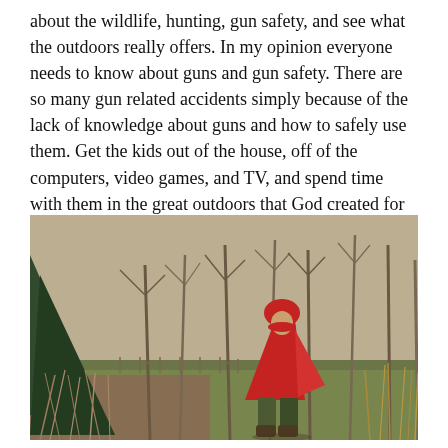about the wildlife, hunting, gun safety, and see what the outdoors really offers. In my opinion everyone needs to know about guns and gun safety. There are so many gun related accidents simply because of the lack of knowledge about guns and how to safely use them. Get the kids out of the house, off of the computers, video games, and TV, and spend time with them in the great outdoors that God created for us to use and enjoy.
[Figure (photo): A child wearing a bright red poncho/cape and red hat with camouflage pants and boots, standing on a forest trail surrounded by bare trees and dry brush in a wintery outdoor setting.]